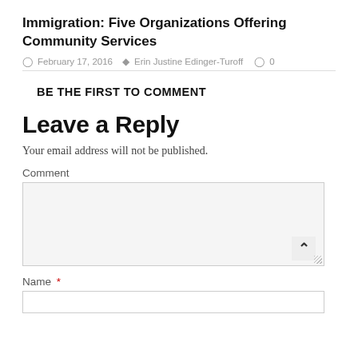Immigration: Five Organizations Offering Community Services
February 17, 2016   Erin Justine Edinger-Turoff   0
BE THE FIRST TO COMMENT
Leave a Reply
Your email address will not be published.
Comment
Name *